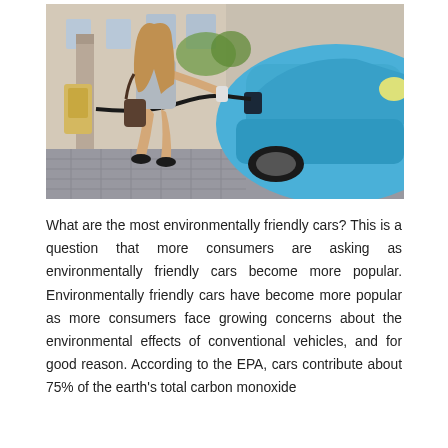[Figure (photo): A young woman with long hair crouching beside a bright blue electric car, plugging in a charging cable. She is wearing a grey t-shirt, denim shorts, and black sandals, with a brown handbag over her shoulder. The background shows a cobblestone street and a classical building facade with a charging station pillar visible on the left.]
What are the most environmentally friendly cars? This is a question that more consumers are asking as environmentally friendly cars become more popular. Environmentally friendly cars have become more popular as more consumers face growing concerns about the environmental effects of conventional vehicles, and for good reason. According to the EPA, cars contribute about 75% of the earth's total carbon monoxide